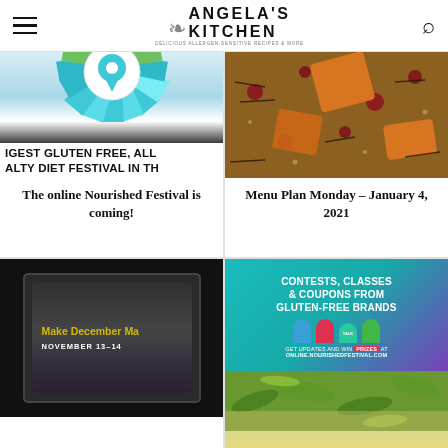Angela's Kitchen — Delicious Allergen-Sensitive Recipes & More
[Figure (photo): Gluten Free, Allergy festival badge/logo with teal sunburst rays and text: GEST GLUTEN FREE, ALL... ALTY DIET FESTIVAL IN TH...]
The online Nourished Festival is coming!
[Figure (photo): Close-up photo of mixed grain salad with wild rice, cranberries, roasted orange squash/carrot pieces]
Menu Plan Monday – January 4, 2021
[Figure (photo): Laptop screen showing Make December Ma... with November 13–14 text, cozy winter scene on screen]
[Figure (infographic): Contests, Classes & Coupons from Gluten-Free Brands banner. Get updates and win prizes at online.nourishedfestival.com. Teal and purple background with location pin icons.]
[Figure (photo): Close-up of green herbs/plants on wooden surface, partially visible]